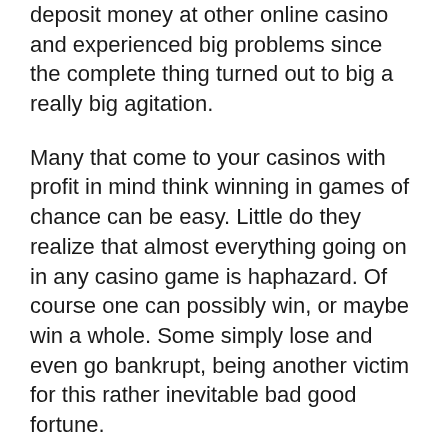deposit money at other online casino and experienced big problems since the complete thing turned out to big a really big agitation.
Many that come to your casinos with profit in mind think winning in games of chance can be easy. Little do they realize that almost everything going on in any casino game is haphazard. Of course one can possibly win, or maybe win a whole. Some simply lose and even go bankrupt, being another victim for this rather inevitable bad good fortune.
With this huge list of games (over one hundred in total), you have endless hours of online gambling. They are well recognized for their slots and huge jackpots. We have also something interesting different...